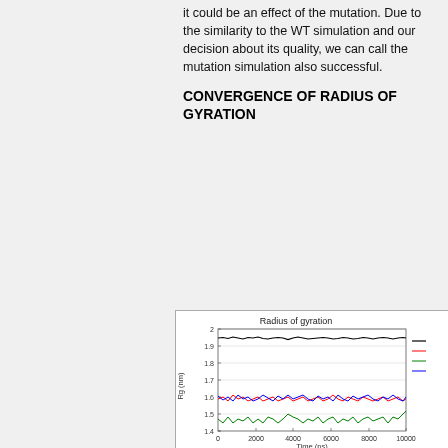it could be an effect of the mutation. Due to the similarity to the WT simulation and our decision about its quality, we can call the mutation simulation also successful.
CONVERGENCE OF RADIUS OF GYRATION
[Figure (line-chart): Line chart showing radius of gyration (nm) vs time (ps) for four series (black, red, green, blue). Black line stays near 1.92 nm. Red and blue lines fluctuate around 1.6 nm. Green line fluctuates around 1.45-1.5 nm. X-axis: 0 to 10000 ps. Y-axis: 1.4 to 2.]